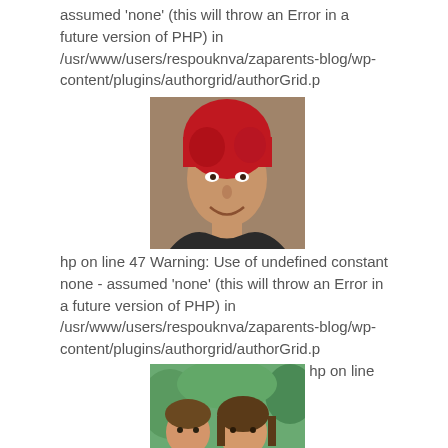assumed 'none' (this will throw an Error in a future version of PHP) in /usr/www/users/respouknva/zaparents-blog/wp-content/plugins/authorgrid/authorGrid.p
[Figure (photo): Portrait photo of a woman with red hair smiling]
hp on line 47 Warning: Use of undefined constant none - assumed 'none' (this will throw an Error in a future version of PHP) in /usr/www/users/respouknva/zaparents-blog/wp-content/plugins/authorgrid/authorGrid.p
[Figure (photo): Photo of a woman and a boy outdoors]
hp on line 47 Warning: Use of undefined constant none - assumed 'none' (this will throw an Error in a future version of PHP) in /usr/www/users/respouknva/zaparents-blog/wp-content/plugins/authorgrid/authorGrid.p